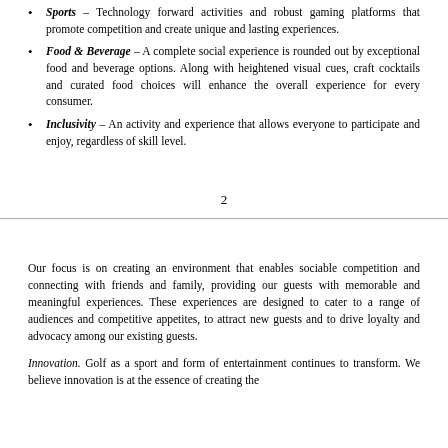Sports – Technology forward activities and robust gaming platforms that promote competition and create unique and lasting experiences.
Food & Beverage – A complete social experience is rounded out by exceptional food and beverage options. Along with heightened visual cues, craft cocktails and curated food choices will enhance the overall experience for every consumer.
Inclusivity – An activity and experience that allows everyone to participate and enjoy, regardless of skill level.
2
Our focus is on creating an environment that enables sociable competition and connecting with friends and family, providing our guests with memorable and meaningful experiences. These experiences are designed to cater to a range of audiences and competitive appetites, to attract new guests and to drive loyalty and advocacy among our existing guests.
Innovation. Golf as a sport and form of entertainment continues to transform. We believe innovation is at the essence of creating the